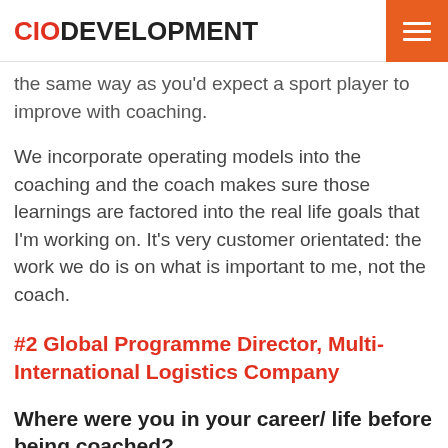CIODEVELOPMENT
the same way as you'd expect a sport player to improve with coaching.
We incorporate operating models into the coaching and the coach makes sure those learnings are factored into the real life goals that I'm working on. It's very customer orientated: the work we do is on what is important to me, not the coach.
#2 Global Programme Director, Multi-International Logistics Company
Where were you in your career/ life before being coached?